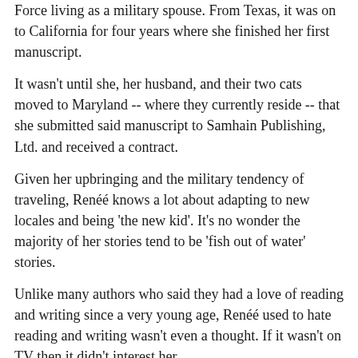Force living as a military spouse. From Texas, it was on to California for four years where she finished her first manuscript.
It wasn't until she, her husband, and their two cats moved to Maryland -- where they currently reside -- that she submitted said manuscript to Samhain Publishing, Ltd. and received a contract.
Given her upbringing and the military tendency of traveling, Reneé knows a lot about adapting to new locales and being 'the new kid'. It's no wonder the majority of her stories tend to be 'fish out of water' stories.
Unlike many authors who said they had a love of reading and writing since a very young age, Reneé used to hate reading and writing wasn't even a thought. If it wasn't on TV then it didn't interest her.
All that changed when her elementary school held a reading contest. A gold medal was waiting for all the students who read a certain number of books and Renee was determined to be one of them. She received her gold medal and a love of reading. From YA Romance to Mainstream Romance, Reneé discovered an addiction to the happily-ever-after endings the romantic genres offered.
She didn't start writing until high school. Back then, her stories were a way to pass the time in class so the teachers thought she